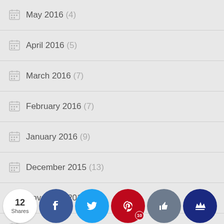May 2016 (4)
April 2016 (5)
March 2016 (7)
February 2016 (7)
January 2016 (9)
December 2015 (13)
November 2015 (9)
October 2015 (9)
September 2015 (11)
August (8)
[Figure (other): Social share bar with 12 Shares, Facebook, Twitter, Pinterest (10), Like, and Crown buttons]